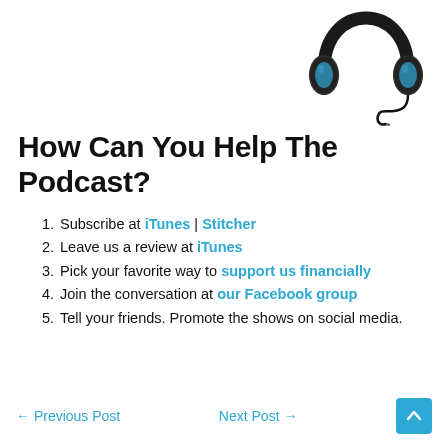[Figure (illustration): Black over-ear headphones with a coiled cable, viewed from the front-left, on a white background.]
How Can You Help The Podcast?
Subscribe at iTunes | Stitcher
Leave us a review at iTunes
Pick your favorite way to support us financially
Join the conversation at our Facebook group
Tell your friends. Promote the shows on social media.
← Previous Post   Next Post →